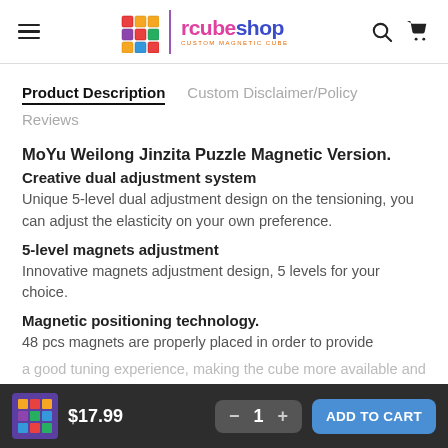rcubeshop — CUSTOM MAGNETIC CUBE
Product Description | Custom Disclaimer/Policy | Reviews
MoYu Weilong Jinzita Puzzle Magnetic Version.
Creative dual adjustment system
Unique 5-level dual adjustment design on the tensioning, you can adjust the elasticity on your own preference.
5-level magnets adjustment
Innovative magnets adjustment design, 5 levels for your choice.
Magnetic positioning technology.
48 pcs magnets are properly placed in order to provide a good tuning experience, making the cube more available and stable.
New anti-sticky design
$17.99  —  1  ADD TO CART